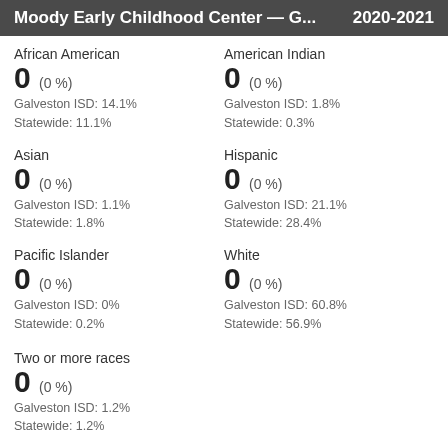Moody Early Childhood Center — G...  2020-2021
African American
0 (0 %)
Galveston ISD: 14.1%
Statawide: 11.1%
American Indian
0 (0 %)
Galveston ISD: 1.8%
Statawide: 0.3%
Asian
0 (0 %)
Galveston ISD: 1.1%
Statawide: 1.8%
Hispanic
0 (0 %)
Galveston ISD: 21.1%
Statawide: 28.4%
Pacific Islander
0 (0 %)
Galveston ISD: 0%
Statawide: 0.2%
White
0 (0 %)
Galveston ISD: 60.8%
Statawide: 56.9%
Two or more races
0 (0 %)
Galveston ISD: 1.2%
Statawide: 1.2%